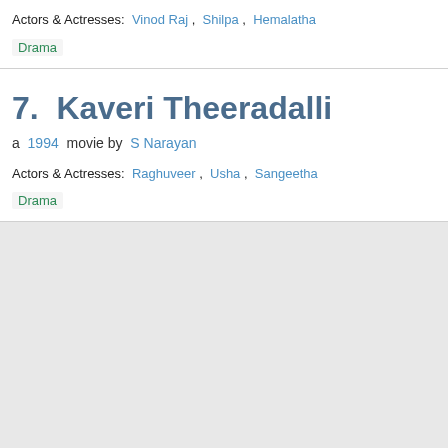Actors & Actresses:  Vinod Raj ,  Shilpa ,  Hemalatha
Drama
7.  Kaveri Theeradalli
a  1994  movie by  S Narayan
Actors & Actresses:  Raghuveer ,  Usha ,  Sangeetha
Drama